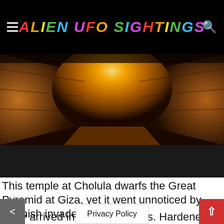ALIEN UFO SIGHTINGS
[Figure (photo): Glowing tunnel or corridor inside a pyramid/temple, lit with golden orange light, stone walls visible.]
This temple at Cholula dwarfs the Great Pyramid at Giza, yet it went unnoticed by Spanish invaders. Why?
They arrived in their thousands. Hardened by months of war with ferocious natives, near-starvation and exotic diseases, Hernan Cortez and his army marched